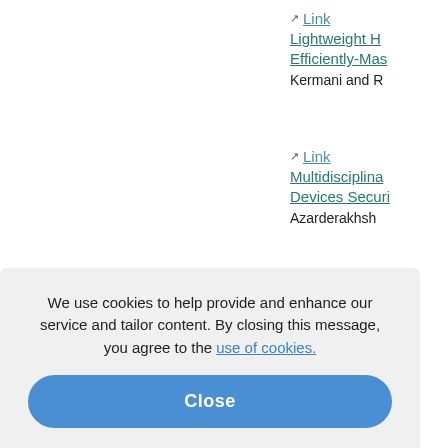Link — Lightweight H... Efficiently-Mas... Kermani and R...
Link — Multidisciplina... Devices Securi... Azarderakhsh...
Link — Error Detectio... Different Varia... Azarderakhsh...
Efficient Error... Encoded Oper... Azarderakhsh...
We use cookies to help provide and enhance our service and tailor content. By closing this message, you agree to the use of cookies.